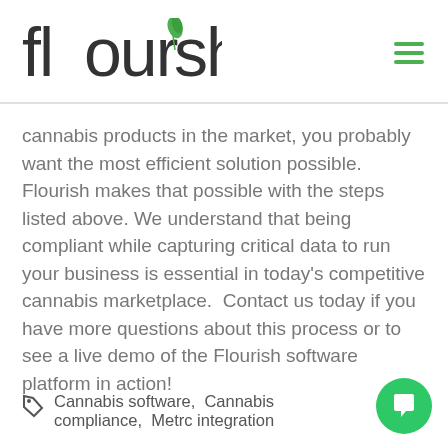Flourish
cannabis products in the market, you probably want the most efficient solution possible. Flourish makes that possible with the steps listed above. We understand that being compliant while capturing critical data to run your business is essential in today’s competitive cannabis marketplace. Contact us today if you have more questions about this process or to see a live demo of the Flourish software platform in action!
Cannabis software, Cannabis compliance, Metrc integration